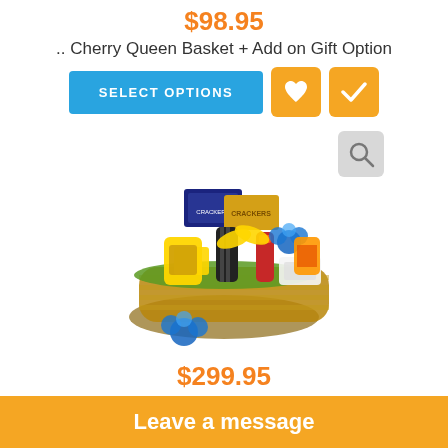$98.95
.. Cherry Queen Basket + Add on Gift Option
[Figure (screenshot): SELECT OPTIONS button (blue) and two orange icon buttons (heart and checkmark)]
[Figure (photo): A gift basket called Barrel Of Goods filled with various food items, crackers, snacks, sauces, with blue flowers decoration, and a magnify/zoom icon in the top right]
$299.95
Barrel Of Goods
Leave a message